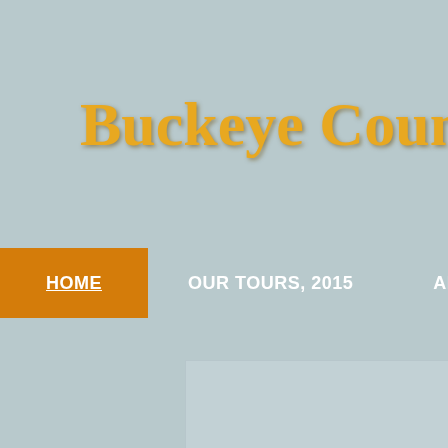Buckeye Country R
HOME
OUR TOURS, 2015
ABOUT US
PHOTO GA